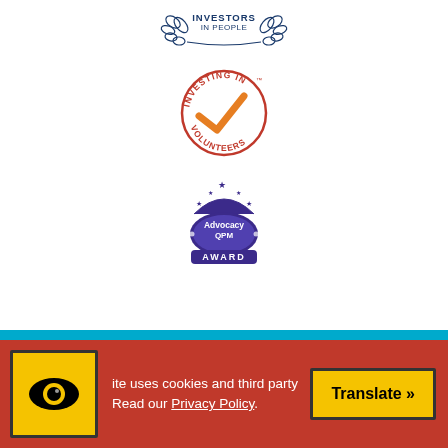[Figure (logo): Investors in People logo — circular laurel wreath with 'INVESTORS IN PEOPLE' text]
[Figure (logo): Investing in Volunteers circular logo with orange checkmark]
[Figure (logo): Advocacy QPM Award logo with crown/stars and purple oval badge]
ite uses cookies and third party Read our Privacy Policy.
Translate »